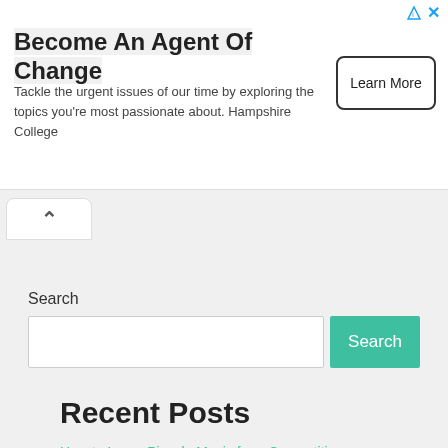[Figure (other): Advertisement banner for Hampshire College: 'Become An Agent Of Change' with Learn More button and ad icons]
Become An Agent Of Change
Tackle the urgent issues of our time by exploring the topics you're most passionate about. Hampshire College
Learn More
Search
Search
Recent Posts
How to Learn Piccolo Music for a Competition
Grenadilla vs. Grenaditte Piccolos
Piccolo vs. Oboe: How They Compare
5 Benefits of Earplugs When Playing Piccolo